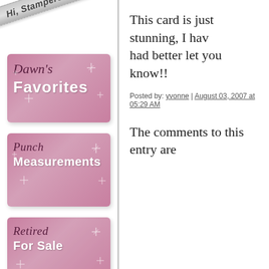[Figure (illustration): Diagonal ribbon banner with text 'Hi, Stampers!']
[Figure (illustration): Pink sparkle banner: Dawn's Favorites]
[Figure (illustration): Pink sparkle banner: Punch Measurements]
[Figure (illustration): Pink sparkle banner: Retired For Sale]
[Figure (illustration): Partial pink sparkle banner at bottom]
This card is just stunning, I hav... had better let you know!!
Posted by: yvonne | August 03, 2007 at 05:29 AM
The comments to this entry are